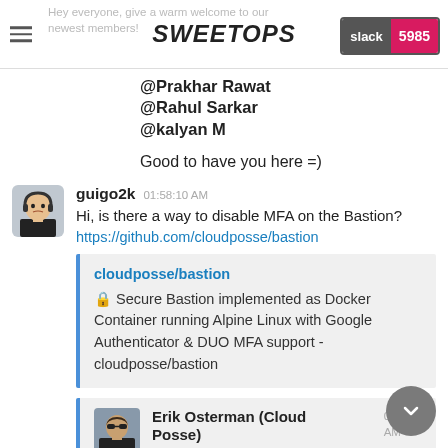SweetOps | slack 5985
Hey everyone, give a warm welcome to our newest members!
@Prakhar Rawat
@Rahul Sarkar
@kalyan M
Good to have you here =)
guigo2k  01:58:10 AM
Hi, is there a way to disable MFA on the Bastion?
https://github.com/cloudposse/bastion
cloudposse/bastion
🔒 Secure Bastion implemented as Docker Container running Alpine Linux with Google Authenticator & DUO MFA support - cloudposse/bastion
Erik Osterman (Cloud Posse)  02:10:4 AM
Let's use #bastion